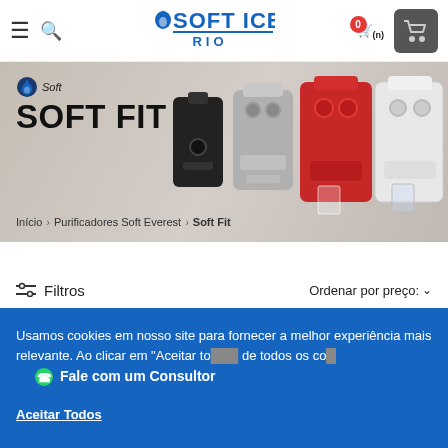Soft Ice Rio — Navigation header with hamburger menu, search icon, logo, and cart
[Figure (screenshot): Website banner showing Soft Fit water purifiers in black, silver, red, and white colors on a stone/wood background]
Início > Purificadores Soft Everest > Soft Fit
≡ Filtros   Ordenar por preço:∨
Usamos cookies em nosso site para fornecer a melhor experiência mais relevante. Ao clicar em "Aceitar to" de todos os co.
Fale com um Consultor
Aceitar Todos